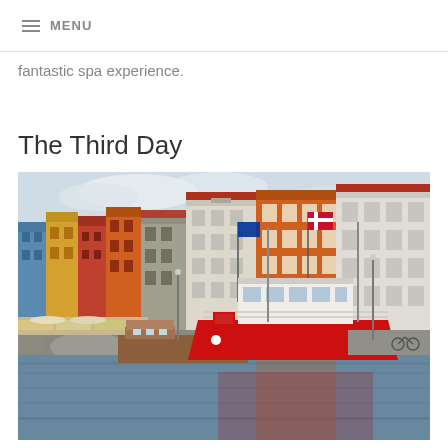MENU
fantastic spa experience.
The Third Day
[Figure (photo): Colorful buildings along the Nyhavn canal in Copenhagen, Denmark, with a red boat moored in the foreground and various watercraft on the canal.]